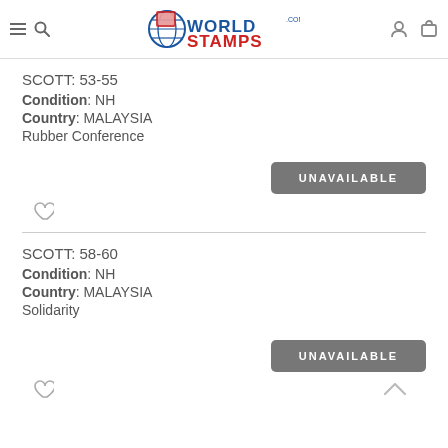WorldStamps.com
SCOTT: 53-55
Condition: NH
Country: MALAYSIA
Rubber Conference
UNAVAILABLE
SCOTT: 58-60
Condition: NH
Country: MALAYSIA
Solidarity
UNAVAILABLE